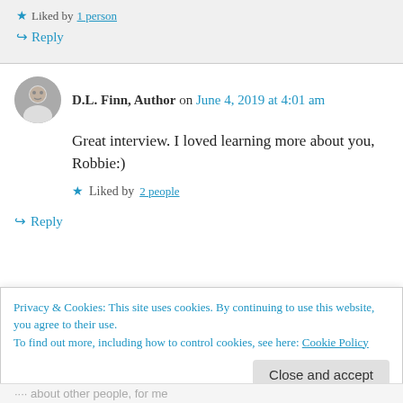★ Liked by 1 person
↪ Reply
D.L. Finn, Author on June 4, 2019 at 4:01 am
Great interview. I loved learning more about you, Robbie:)
★ Liked by 2 people
↪ Reply
Privacy & Cookies: This site uses cookies. By continuing to use this website, you agree to their use. To find out more, including how to control cookies, see here: Cookie Policy
Close and accept
more about other people, for me